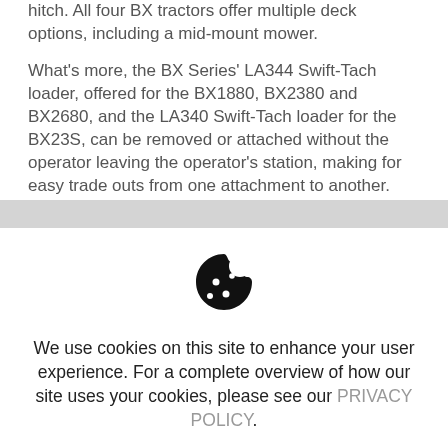hitch. All four BX tractors offer multiple deck options, including a mid-mount mower.
What's more, the BX Series' LA344 Swift-Tach loader, offered for the BX1880, BX2380 and BX2680, and the LA340 Swift-Tach loader for the BX23S, can be removed or attached without the operator leaving the operator's station, making for easy trade outs from one attachment to another.
[Figure (illustration): Cookie consent icon — a cookie with bite taken out, showing dots as chocolate chips, in black]
We use cookies on this site to enhance your user experience. For a complete overview of how our site uses your cookies, please see our PRIVACY POLICY.
HIDE MESSAGE